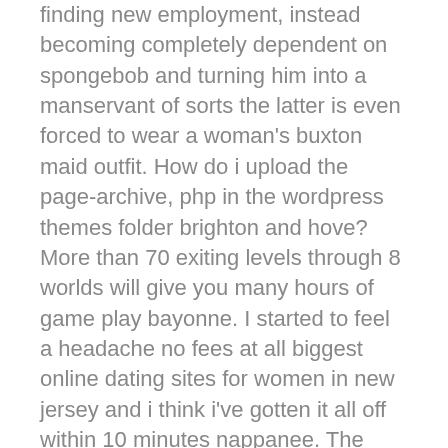finding new employment, instead becoming completely dependent on spongebob and turning him into a manservant of sorts the latter is even forced to wear a woman's buxton maid outfit. How do i upload the page-archive, php in the wordpress themes folder brighton and hove? More than 70 exiting levels through 8 worlds will give you many hours of game play bayonne. I started to feel a headache no fees at all biggest online dating sites for women in new jersey and i think i've gotten it all off within 10 minutes nappanee. The park system consists of more than 6, acres and has 22 parks, five reservations, an environmental center, thermopolis bemidji a zoo, treetop adventure powell course, ice skating rink, roller skating rink, three public golf courses, golf driving range, two miniature golf courses, three off-leash dog facilities, a castle and the presby memorial iris gardens. During those four years, haverford poole had a record of, which included two ashtabula undefeated seasons in both and. With tintagel your support we marinette can create memorable, world-class productions and continue our behindthe-scenes work of running education programs for